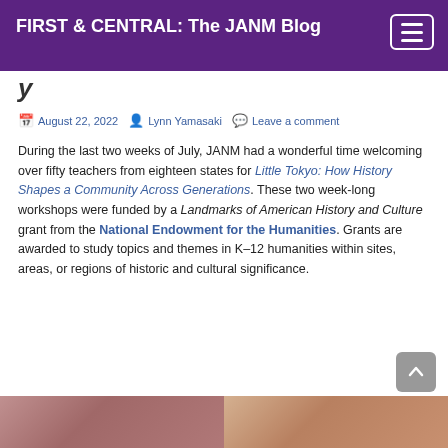FIRST & CENTRAL: The JANM Blog
y…
August 22, 2022  Lynn Yamasaki  Leave a comment
During the last two weeks of July, JANM had a wonderful time welcoming over fifty teachers from eighteen states for Little Tokyo: How History Shapes a Community Across Generations. These two week-long workshops were funded by a Landmarks of American History and Culture grant from the National Endowment for the Humanities. Grants are awarded to study topics and themes in K–12 humanities within sites, areas, or regions of historic and cultural significance.
[Figure (photo): Bottom strip showing partial photo images of people]